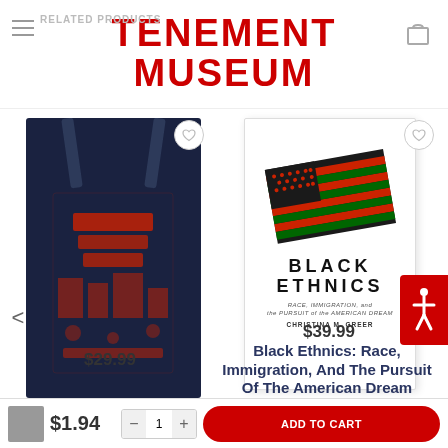TENEMENT MUSEUM
RELATED PRODUCTS
[Figure (photo): Red Denim Lower East Side Tote Bag - dark navy blue tote bag with red graphic print]
FAVORITES
Red Denim Lower East Side Tote Bag
$29.99
[Figure (photo): Book cover for Black Ethnics: Race, Immigration, and the Pursuit of the American Dream by Christina M. Greer, featuring a stylized American flag in red, black and green]
BOOKS
Black Ethnics: Race, Immigration, And The Pursuit Of The American Dream
$39.99
$1.94
ADD TO CART